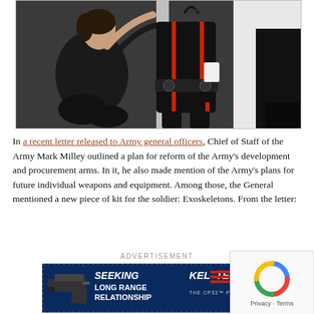[Figure (photo): A woman in black clothing kneeling and adjusting straps on a person wearing a black exoskeleton suit with red accents, in an indoor setting.]
In a recent letter released to Army general officers, Chief of Staff of the Army Mark Milley outlined a plan for reform of the Army's development and procurement arms. In it, he also made mention of the Army's plans for future individual weapons and equipment. Among those, the General mentioned a new piece of kit for the soldier: Exoskeletons. From the letter:
ADVERTISEMENT
[Figure (other): Kel-Tec advertisement banner: shows a handgun on the left with text 'SEEKING LONG RANGE RELATIONSHIP' and 'THE CP33 PISTOL' with the Kel-Tec logo.]